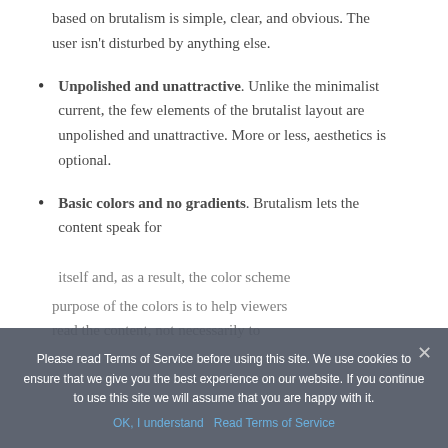based on brutalism is simple, clear, and obvious. The user isn't disturbed by anything else.
Unpolished and unattractive. Unlike the minimalist current, the few elements of the brutalist layout are unpolished and unattractive. More or less, aesthetics is optional.
Basic colors and no gradients. Brutalism lets the content speak for itself and, as a result, the color scheme ... purpose of the colors is to help viewers read the content, not necessarily to
Please read Terms of Service before using this site. We use cookies to ensure that we give you the best experience on our website. If you continue to use this site we will assume that you are happy with it.
OK, I understand   Read Terms of Service